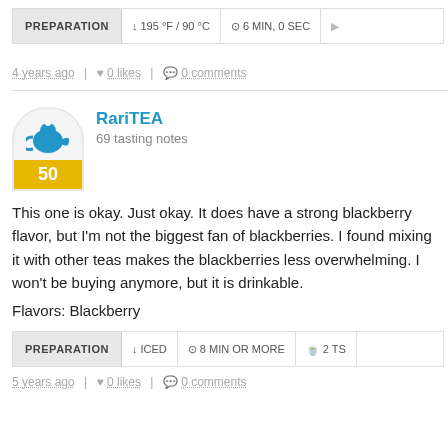| PREPARATION | 195 °F / 90 °C | 6 MIN, 0 SEC |
| --- | --- | --- |
4 years ago | 0 likes | 0 comments
RariTEA
69 tasting notes
This one is okay. Just okay. It does have a strong blackberry flavor, but I'm not the biggest fan of blackberries. I found mixing it with other teas makes the blackberries less overwhelming. I won't be buying again, but it is drinkable.
Flavors: Blackberry
| PREPARATION | ICED | 8 MIN OR MORE | 2 TS |
| --- | --- | --- | --- |
5 years ago | 0 likes | 0 comments